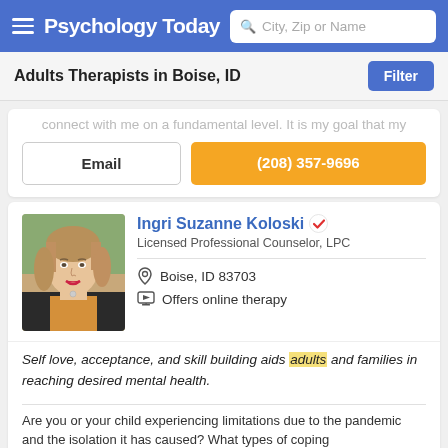Psychology Today — City, Zip or Name search
Adults Therapists in Boise, ID
connect with me on a fundamental level. It is my goal that my
Email   (208) 357-9696
Ingri Suzanne Koloski — Licensed Professional Counselor, LPC — Boise, ID 83703 — Offers online therapy
Self love, acceptance, and skill building aids adults and families in reaching desired mental health.
Are you or your child experiencing limitations due to the pandemic and the isolation it has caused? What types of coping